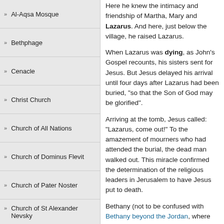Al-Aqsa Mosque
Bethphage
Cenacle
Christ Church
Church of All Nations
Church of Dominus Flevit
Church of Pater Noster
Church of St Alexander Nevsky
Church of St Anne
Church of St James
Church of St Mark
Church of St Mary Magdalene
Here he knew the intimacy and friendship of Martha, Mary and Lazarus. And here, just below the village, he raised Lazarus.
When Lazarus was dying, as John's Gospel recounts, his sisters sent for Jesus. But Jesus delayed his arrival until four days after Lazarus had been buried, "so that the Son of God may be glorified".
Arriving at the tomb, Jesus called: "Lazarus, come out!" To the amazement of mourners who had attended the burial, the dead man walked out. This miracle confirmed the determination of the religious leaders in Jerusalem to have Jesus put to death.
Bethany (not to be confused with Bethany beyond the Jordan, where Christ was baptised) is also associated with two other events:
• While Christ was visiting his friends' home, Martha complained that her sister Mary, sitting at Jesus' feet, left all the work to her. Christ replied: "Mary has chosen what is better, and it will not be taken from her". (Luke 10:38-42)